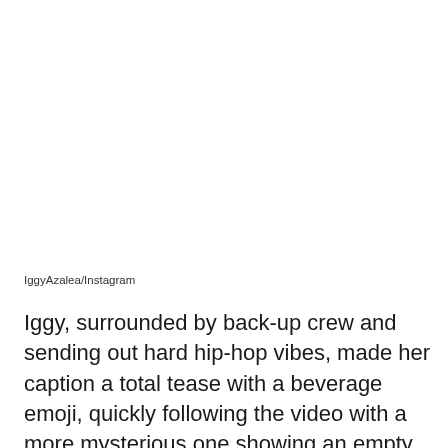IggyAzalea/Instagram
Iggy, surrounded by back-up crew and sending out hard hip-hop vibes, made her caption a total tease with a beverage emoji, quickly following the video with a more mysterious one showing an empty gas station at night. The two-pump setting came with a huge straw and drink “Kitty Juice” cup above the